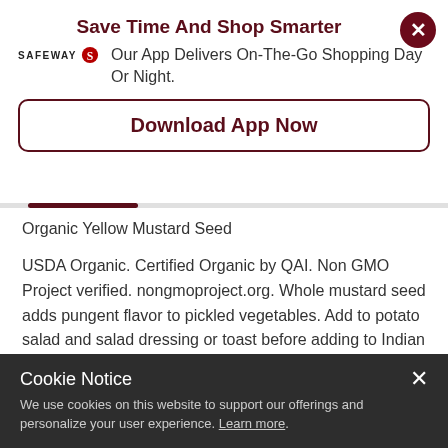Save Time And Shop Smarter
Our App Delivers On-The-Go Shopping Day Or Night.
Download App Now
Organic Yellow Mustard Seed
USDA Organic. Certified Organic by QAI. Non GMO Project verified. nongmoproject.org. Whole mustard seed adds pungent flavor to pickled vegetables. Add to potato salad and salad dressing or toast before adding to Indian recipes. Filled by weight. Settling may occur. mccormickgourmet.com. mccormickgourmet.com or call 1-800-632-5847. Packed in
Cookie Notice
We use cookies on this website to support our offerings and personalize your user experience. Learn more.